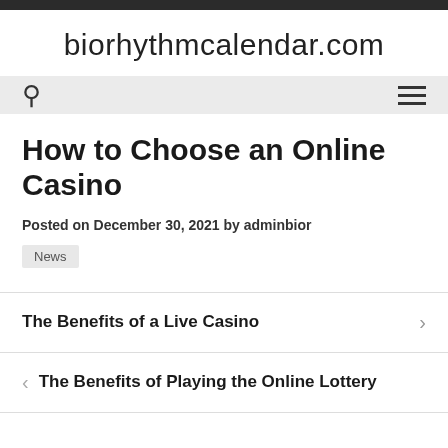biorhythmcalendar.com
How to Choose an Online Casino
Posted on December 30, 2021 by adminbior
News
The Benefits of a Live Casino
The Benefits of Playing the Online Lottery